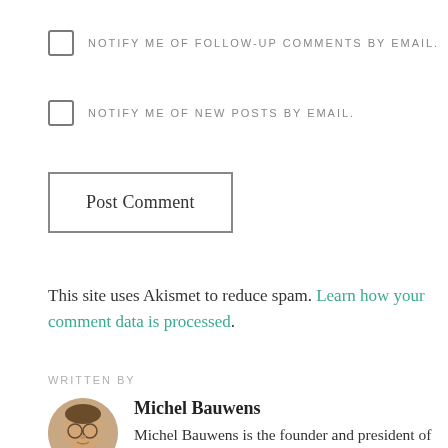NOTIFY ME OF FOLLOW-UP COMMENTS BY EMAIL.
NOTIFY ME OF NEW POSTS BY EMAIL.
Post Comment
This site uses Akismet to reduce spam. Learn how your comment data is processed.
WRITTEN BY
Michel Bauwens
Michel Bauwens is the founder and president of the P2P Foundation and works in collaboration with a